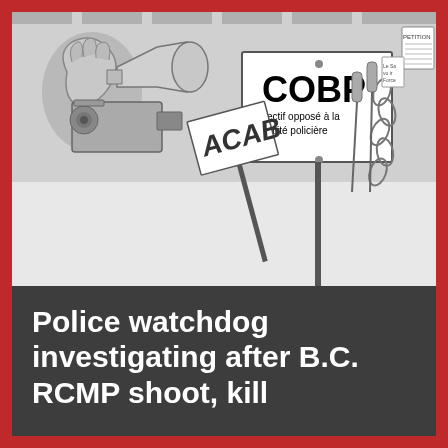[Figure (illustration): Black and white illustration showing protest signs and equipment including a large COBP (collectif opposé à la brutalité policière) sign, megaphone, video camera, chains, microphones, and other protest paraphernalia against a grey background.]
Police watchdog investigating after B.C. RCMP shoot, kill